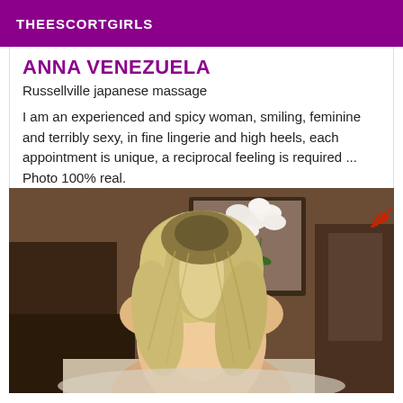THEESCORTGIRLS
ANNA VENEZUELA
Russellville japanese massage
I am an experienced and spicy woman, smiling, feminine and terribly sexy, in fine lingerie and high heels, each appointment is unique, a reciprocal feeling is required ... Photo 100% real.
[Figure (photo): Back view of a blonde woman with long hair sitting, with white orchid flowers and a chili pepper emoji visible in the upper right corner]